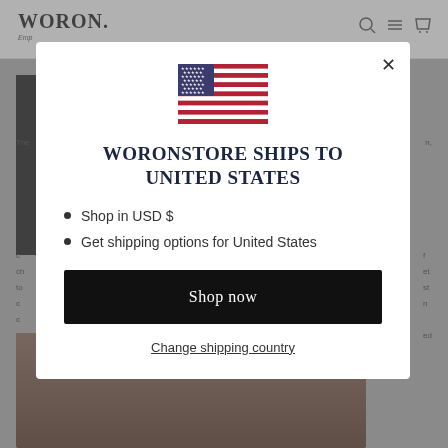[Figure (screenshot): WORON store website background with header, logo, and product content partially visible behind a modal dialog]
[Figure (illustration): US flag SVG illustration inside modal]
WORONSTORE SHIPS TO UNITED STATES
Shop in USD $
Get shipping options for United States
Shop now
Change shipping country